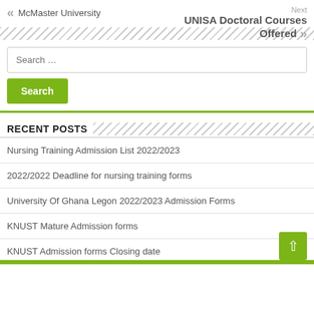« McMaster University
Next
UNISA Doctoral Courses Offered »
Search …
Search
RECENT POSTS
Nursing Training Admission List 2022/2023
2022/2022 Deadline for nursing training forms
University Of Ghana Legon 2022/2023 Admission Forms
KNUST Mature Admission forms
KNUST Admission forms Closing date